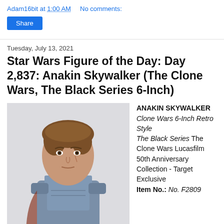Adam16bit at 1:00 AM    No comments:
Share
Tuesday, July 13, 2021
Star Wars Figure of the Day: Day 2,837: Anakin Skywalker (The Clone Wars, The Black Series 6-Inch)
[Figure (photo): Photo of Anakin Skywalker action figure from The Black Series, showing head and upper torso in blue/grey armor]
ANAKIN SKYWALKER Clone Wars 6-Inch Retro Style The Black Series The Clone Wars Lucasfilm 50th Anniversary Collection - Target Exclusive Item No.: No. F2809